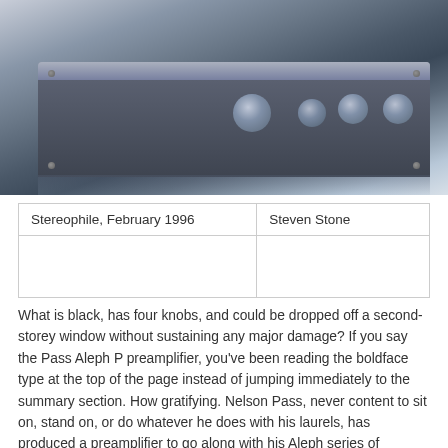[Figure (photo): Photograph of a Pass Aleph P preamplifier — a rectangular black brushed-metal amplifier chassis with four round control knobs on the front panel, sitting on a reflective surface against a light background.]
| Stereophile, February 1996 | Steven Stone |
|  |  |
What is black, has four knobs, and could be dropped off a second-storey window without sustaining any major damage? If you say the Pass Aleph P preamplifier, you've been reading the boldface type at the top of the page instead of jumping immediately to the summary section. How gratifying. Nelson Pass, never content to sit on, stand on, or do whatever he does with his laurels, has produced a preamplifier to go along with his Aleph series of amplifiers. This component shares more than just the name Aleph with its beefier brethren; it even uses the